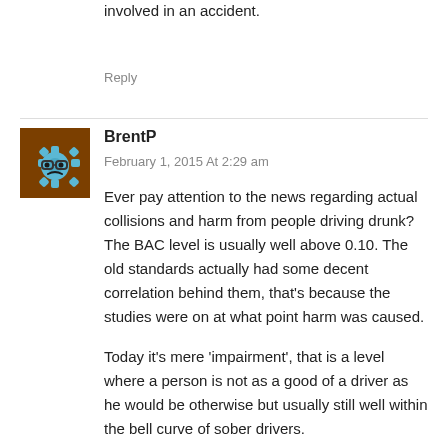involved in an accident.
Reply
[Figure (illustration): User avatar: brown square background with a blue cartoon gear/cog face wearing glasses]
BrentP
February 1, 2015 At 2:29 am
Ever pay attention to the news regarding actual collisions and harm from people driving drunk? The BAC level is usually well above 0.10. The old standards actually had some decent correlation behind them, that's because the studies were on at what point harm was caused.
Today it's mere 'impairment', that is a level where a person is not as a good of a driver as he would be otherwise but usually still well within the bell curve of sober drivers.